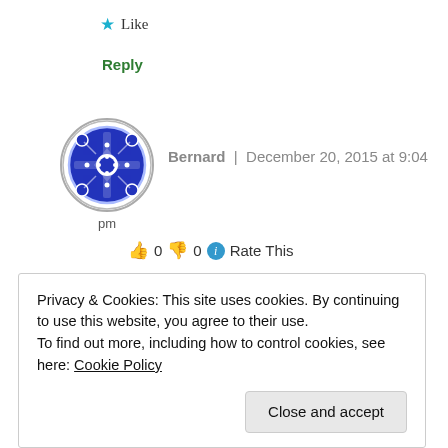★ Like
Reply
[Figure (illustration): Circular avatar icon with blue and white geometric/ornamental pattern design]
Bernard | December 20, 2015 at 9:04 pm
👍 0 👎 0 ℹ Rate This
Thanks! Yes, it's a nice watch and the dial is black. I was hoping to source the replacement crystal online, it seems to be a challenge. Just thought to give it a try by
Privacy & Cookies: This site uses cookies. By continuing to use this website, you agree to their use.
To find out more, including how to control cookies, see here: Cookie Policy
Close and accept